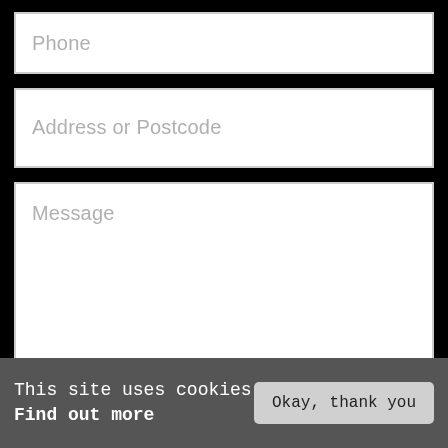Phone
Address or Postcode
Message
This site uses cookies
Find out more
Okay, thank you